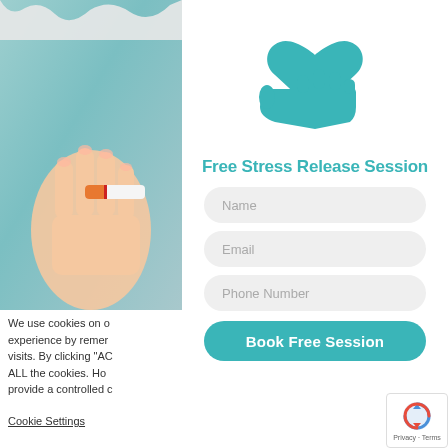[Figure (photo): Hand holding a cigarette being broken/snapped, blurred teal background]
[Figure (illustration): Teal icon of a hand holding a heart above it, representing care or wellness]
Free Stress Release Session
Name
Email
Phone Number
Book Free Session
We use cookies on o... experience by remer... visits. By clicking "AC... ALL the cookies. Ho... provide a controlled c...
Cookie Settings